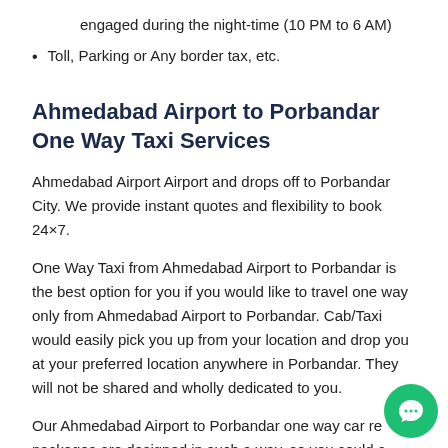engaged during the night-time (10 PM to 6 AM)
Toll, Parking or Any border tax, etc.
Ahmedabad Airport to Porbandar One Way Taxi Services
Ahmedabad Airport Airport and drops off to Porbandar City. We provide instant quotes and flexibility to book 24×7.
One Way Taxi from Ahmedabad Airport to Porbandar is the best option for you if you would like to travel one way only from Ahmedabad Airport to Porbandar. Cab/Taxi would easily pick you up from your location and drop you at your preferred location anywhere in Porbandar. They will not be shared and wholly dedicated to you.
Our Ahmedabad Airport to Porbandar one way car rental packages are designed in such a way, so you could avail yourself more benefits by just paying one way drop only charges. Read on to find out more about our one way taxi services.